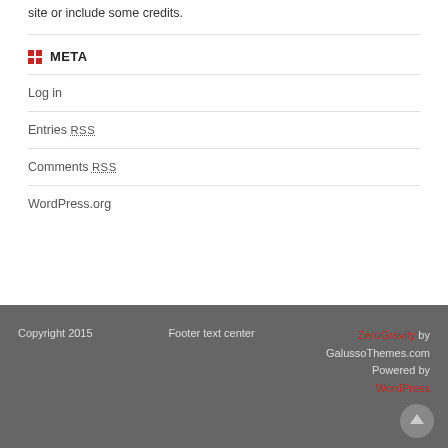site or include some credits.
META
Log in
Entries RSS
Comments RSS
WordPress.org
Copyright 2015   Footer text center   ZeroGravity by GalussoThemes.com  Powered by WordPress